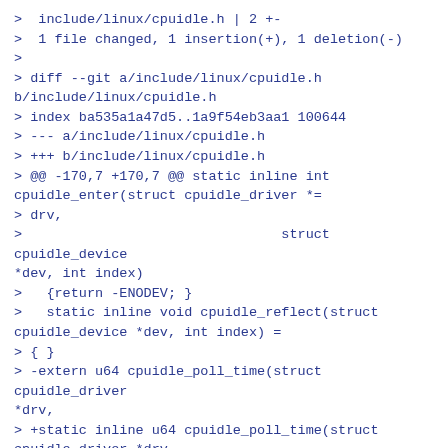>  include/linux/cpuidle.h | 2 +-
>  1 file changed, 1 insertion(+), 1 deletion(-)
>
> diff --git a/include/linux/cpuidle.h b/include/linux/cpuidle.h
> index ba535a1a47d5..1a9f54eb3aa1 100644
> --- a/include/linux/cpuidle.h
> +++ b/include/linux/cpuidle.h
> @@ -170,7 +170,7 @@ static inline int cpuidle_enter(struct cpuidle_driver *=
> drv,
>                                struct cpuidle_device *dev, int index)
>   {return -ENODEV; }
>   static inline void cpuidle_reflect(struct cpuidle_device *dev, int index) =
> { }
> -extern u64 cpuidle_poll_time(struct cpuidle_driver *drv,
> +static inline u64 cpuidle_poll_time(struct cpuidle_driver *drv,
>                               struct cpuidle_device *dev)
>   {return 0; }
>   static inline int cpuidle_register_driver(struct cpuidle_driver *drv)
> --=20
> 2.20.1
>
> --=20